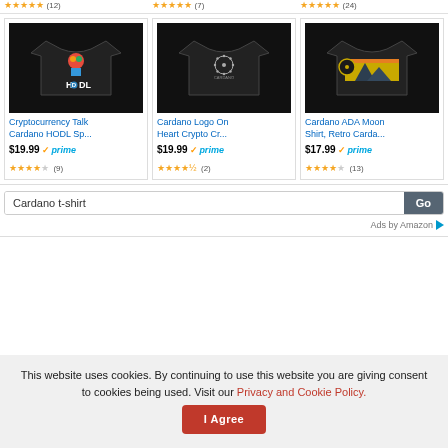[Figure (screenshot): Top bar showing star ratings for three products (partially cropped at top of page)]
[Figure (photo): Black t-shirt with colorful character and HODL text - Cryptocurrency Talk Cardano HODL product]
Cryptocurrency Talk Cardano HODL Sp...
$19.99 ✓prime
★★★★☆ (9)
[Figure (photo): Black t-shirt with Cardano logo on chest - Cardano Logo On Heart Crypto product]
Cardano Logo On Heart Crypto Cr...
$19.99 ✓prime
★★★★☆ (2)
[Figure (photo): Black t-shirt with retro mountain/vinyl design - Cardano ADA Moon Shirt product]
Cardano ADA Moon Shirt, Retro Carda...
$17.99 ✓prime
★★★★☆ (13)
Cardano t-shirt
Ads by Amazon
This website uses cookies. By continuing to use this website you are giving consent to cookies being used. Visit our Privacy and Cookie Policy.